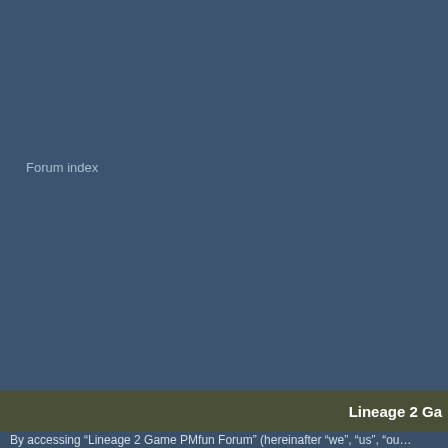Forum index
Lineage 2 Ga
By accessing “Lineage 2 Game PMfun Forum” (hereinafter “we”, “us”, “ou… by the following terms. If you do not agree to be legally bound by…